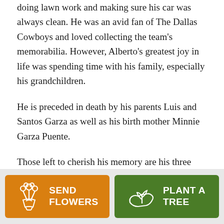doing lawn work and making sure his car was always clean. He was an avid fan of The Dallas Cowboys and loved collecting the team's memorabilia. However, Alberto's greatest joy in life was spending time with his family, especially his grandchildren.
He is preceded in death by his parents Luis and Santos Garza as well as his birth mother Minnie Garza Puente.
Those left to cherish his memory are his three sons, Albert “JR” Garza Jr. of Lubbock, Albert Rodriguez of Lubbock and Michael Rodriguez of Lubbock; two
[Figure (other): Two call-to-action buttons: 'SEND FLOWERS' on an orange background with a flower bouquet icon, and 'PLANT A TREE' on a green background with a plant/hand icon.]